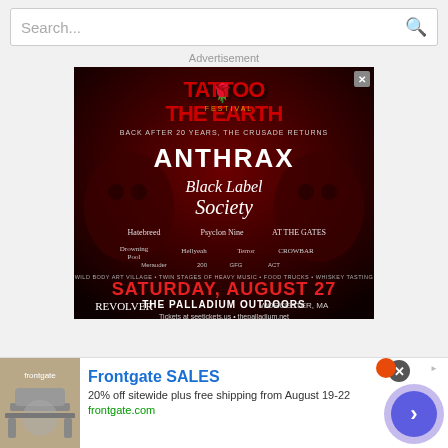[Figure (screenshot): Search bar with placeholder text 'Search...' and magnifying glass icon on right]
Advertisement
[Figure (illustration): Concert festival advertisement for 'Tattoo The Earth Festival' featuring bands: Anthrax, Black Label Society, Hatebreed, Psyclon Nine, At The Gates, Drowning Pool, Hellyeah, Terror, Crowbar, and others. Event: Saturday, August 27 at The Palladium Outdoors, Worcester, MA. Tickets at seetickets.us and thepalladium.net. Presented by Revolver magazine.]
[Figure (illustration): Bottom banner advertisement for Frontgate SALES: '20% off sitewide plus free shipping from August 19-22' with URL frontgate.com, showing outdoor furniture image and navigation arrow button]